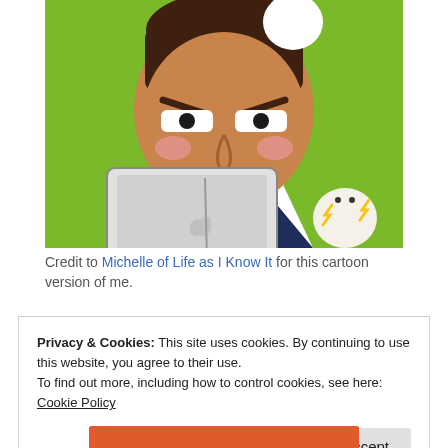[Figure (illustration): Cartoon illustration of an angry man with dark hair holding a laptop, with a green background and a small frustrated character next to him. The man is wearing a dark blazer and has a furrowed brow expression.]
Credit to Michelle of Life as I Know It for this cartoon version of me.
Privacy & Cookies: This site uses cookies. By continuing to use this website, you agree to their use.
To find out more, including how to control cookies, see here: Cookie Policy
Close and accept